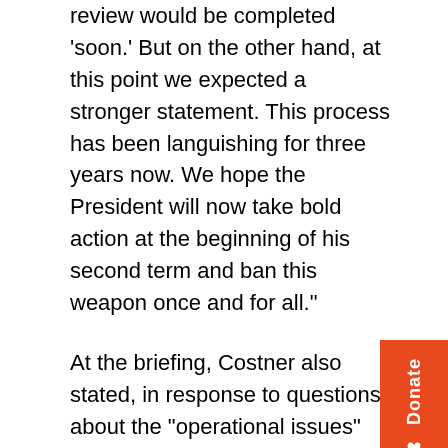review would be completed 'soon.' But on the other hand, at this point we expected a stronger statement. This process has been languishing for three years now. We hope the President will now take bold action at the beginning of his second term and ban this weapon once and for all."
At the briefing, Costner also stated, in response to questions about the "operational issues" cited in the statement, "We've made real progress. We've identifi the issues. Our homework is done. Now it's about looking at the options and going forward."
The U.S. reportedly retains some 10 million stockpiled antipersonnel mines for potential future use. With Poland's imminent ratification of the treaty, also announced at this conference, the U.S. is now one of only 36 countries in the world that have not joined the Mine Ban Treaty—and is the only member of NATO that is not